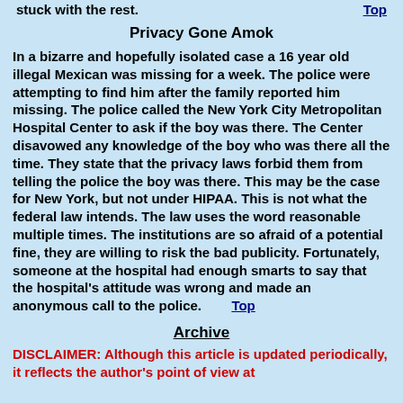stuck with the rest.        Top
Privacy Gone Amok
In a bizarre and hopefully isolated case a 16 year old illegal Mexican was missing for a week.  The police were attempting to find him after the family reported him missing.  The police called the New York City Metropolitan Hospital Center to ask if the boy was there.  The Center disavowed any knowledge of the boy who was there all the time.  They state that the privacy laws forbid them from telling the police the boy was there.  This may be the case for New York, but not under HIPAA.  This is not what the federal law intends.  The law uses the word reasonable multiple times.  The institutions are so afraid of a potential fine, they are willing to risk the bad publicity.  Fortunately, someone at the hospital had enough smarts to say that the hospital's attitude was wrong and made an anonymous call to the police.        Top
Archive
DISCLAIMER: Although this article is updated periodically, it reflects the author's point of view at